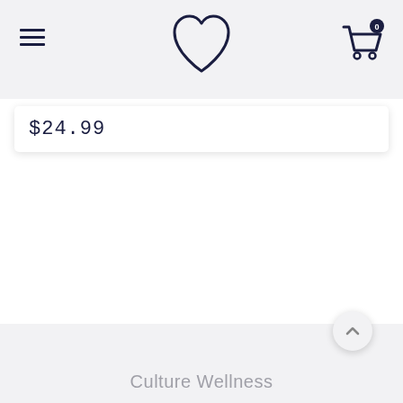[Figure (screenshot): Website header bar with hamburger menu icon on left, heart/wishlist icon in center, and shopping cart icon with badge showing 0 on right]
$24.99
[Figure (screenshot): Back to top button - circular button with upward chevron arrow]
Culture Wellness